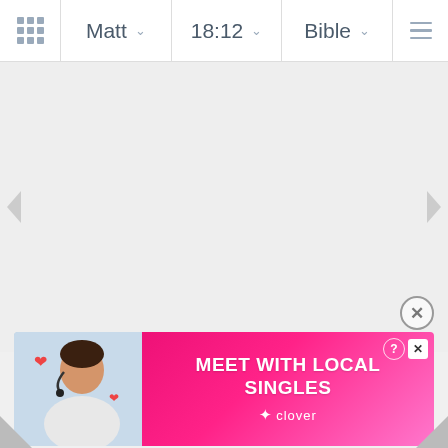Matt  18:12  Bible
[Figure (screenshot): Bible app navigation bar with grid icon, Matt dropdown, 18:12 dropdown, Bible dropdown, and hamburger menu]
[Figure (screenshot): Empty light gray content area with left and right navigation arrows]
[Figure (advertisement): Dating app advertisement for Clover showing a woman with headset and heart emojis, text MEET WITH LOCAL SINGLES, clover branding in pink gradient. Has ? and X close buttons.]